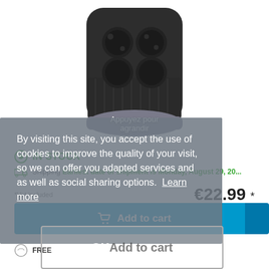[Figure (photo): Black 4-button garage door remote control with ribbed bottom and grey base, with overlay text 'Appuyez pour agrandir']
IN STOCK
Shipping Earliest date of shipment is Monday, August 29, 20...
*Vat included  €22.99 *
Add to cart
By visiting this site, you accept the use of cookies to improve the quality of your visit, so we can offer you adapted services and as well as social sharing options. Learn more
OK
FREE